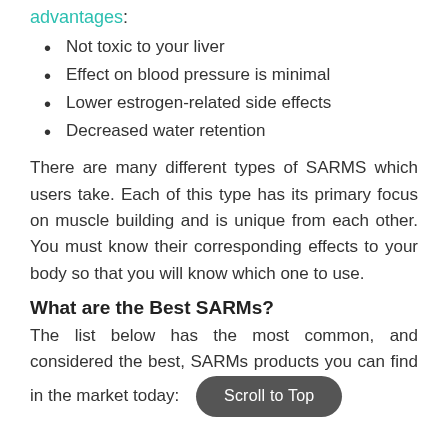advantages:
Not toxic to your liver
Effect on blood pressure is minimal
Lower estrogen-related side effects
Decreased water retention
There are many different types of SARMS which users take. Each of this type has its primary focus on muscle building and is unique from each other. You must know their corresponding effects to your body so that you will know which one to use.
What are the Best SARMs?
The list below has the most common, and considered the best, SARMs products you can find in the market today: